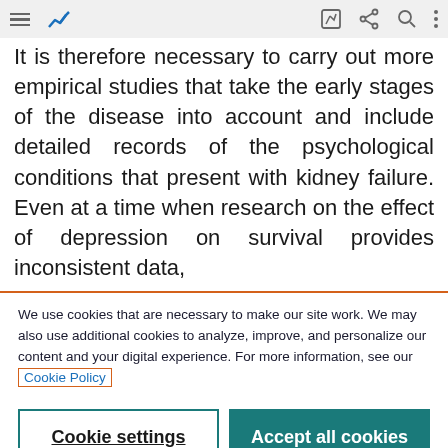[browser toolbar with menu, chart icon, edit, share, search, more icons]
It is therefore necessary to carry out more empirical studies that take the early stages of the disease into account and include detailed records of the psychological conditions that present with kidney failure. Even at a time when research on the effect of depression on survival provides inconsistent data,
We use cookies that are necessary to make our site work. We may also use additional cookies to analyze, improve, and personalize our content and your digital experience. For more information, see our Cookie Policy
Cookie settings
Accept all cookies